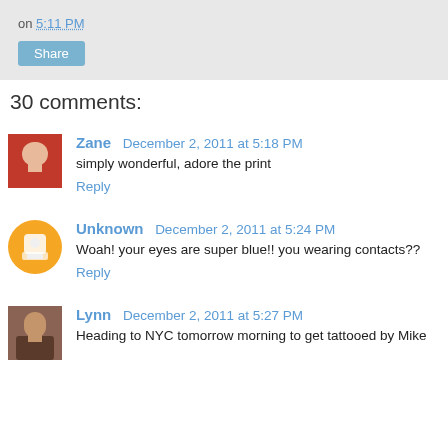on 5:11 PM
Share
30 comments:
Zane   December 2, 2011 at 5:18 PM
simply wonderful, adore the print
Reply
Unknown   December 2, 2011 at 5:24 PM
Woah! your eyes are super blue!! you wearing contacts??
Reply
Lynn   December 2, 2011 at 5:27 PM
Heading to NYC tomorrow morning to get tattooed by Mike